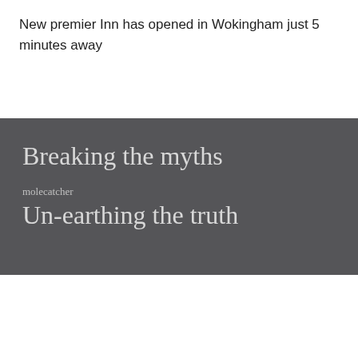New premier Inn has opened in Wokingham just 5 minutes away
Breaking the myths
molecatcher
Un-earthing the truth